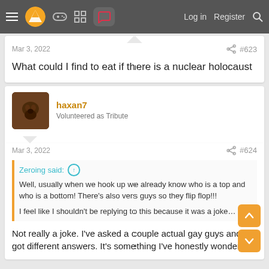≡  [logo]  [gamepad]  [grid]  [chat]    Log in   Register  🔍
Mar 3, 2022   #623
What could I find to eat if there is a nuclear holocaust
[Figure (screenshot): User avatar for haxan7 — dark brownish profile picture]
haxan7
Volunteered as Tribute
Mar 3, 2022   #624
Zeroing said: ↑
Well, usually when we hook up we already know who is a top and who is a bottom! There's also vers guys so they flip flop!!!

I feel like I shouldn't be replying to this because it was a joke…
Not really a joke. I've asked a couple actual gay guys and I got different answers. It's something I've honestly wondered